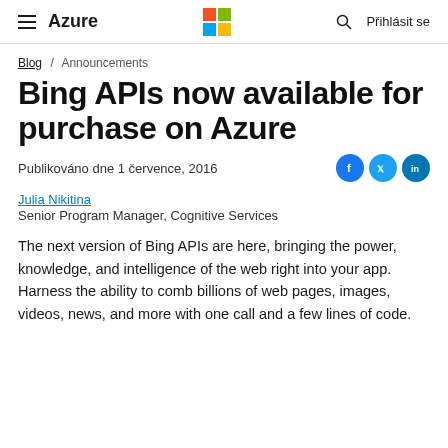≡ Azure  [Microsoft Logo]  🔍  Přihlásit se
Blog / Announcements
Bing APIs now available for purchase on Azure
Publikováno dne 1 července, 2016
Julia Nikitina
Senior Program Manager, Cognitive Services
The next version of Bing APIs are here, bringing the power, knowledge, and intelligence of the web right into your app. Harness the ability to comb billions of web pages, images, videos, news, and more with one call and a few lines of code.